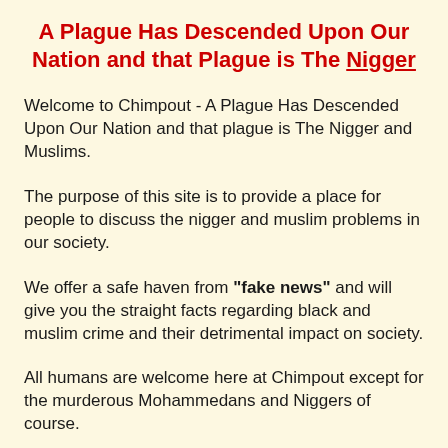A Plague Has Descended Upon Our Nation and that Plague is The Nigger
Welcome to Chimpout - A Plague Has Descended Upon Our Nation and that plague is The Nigger and Muslims.
The purpose of this site is to provide a place for people to discuss the nigger and muslim problems in our society.
We offer a safe haven from "fake news" and will give you the straight facts regarding black and muslim crime and their detrimental impact on society.
All humans are welcome here at Chimpout except for the murderous Mohammedans and Niggers of course.